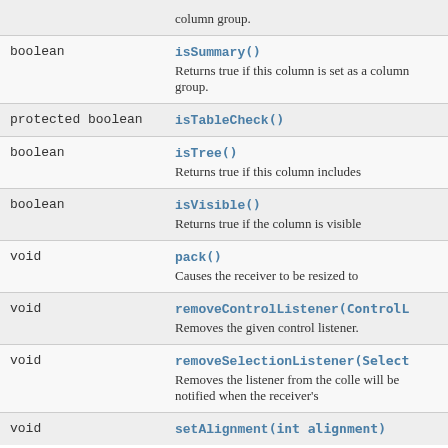| Type | Method and Description |
| --- | --- |
|  | column group. |
| boolean | isSummary()
Returns true if this column is set as a column group. |
| protected boolean | isTableCheck() |
| boolean | isTree()
Returns true if this column includes |
| boolean | isVisible()
Returns true if the column is visible |
| void | pack()
Causes the receiver to be resized to |
| void | removeControlListener(ControlL
Removes the given control listener. |
| void | removeSelectionListener(Select
Removes the listener from the colle will be notified when the receiver's |
| void | setAlignment(int alignment) |